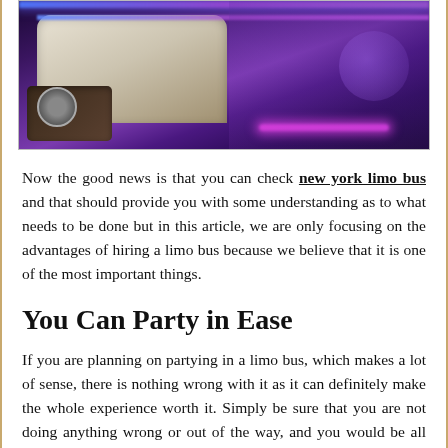[Figure (photo): Interior of a limo bus with purple LED lighting, curved white leather seats, and illuminated dashboard]
Now the good news is that you can check new york limo bus and that should provide you with some understanding as to what needs to be done but in this article, we are only focusing on the advantages of hiring a limo bus because we believe that it is one of the most important things.
You Can Party in Ease
If you are planning on partying in a limo bus, which makes a lot of sense, there is nothing wrong with it as it can definitely make the whole experience worth it. Simply be sure that you are not doing anything wrong or out of the way, and you would be all good.
You Want to Show Someone The